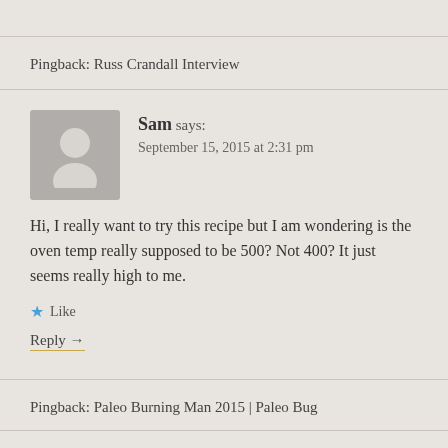Pingback: Russ Crandall Interview
Sam says:
September 15, 2015 at 2:31 pm
Hi, I really want to try this recipe but I am wondering is the oven temp really supposed to be 500? Not 400? It just seems really high to me.
★ Like
Reply →
Pingback: Paleo Burning Man 2015 | Paleo Bug